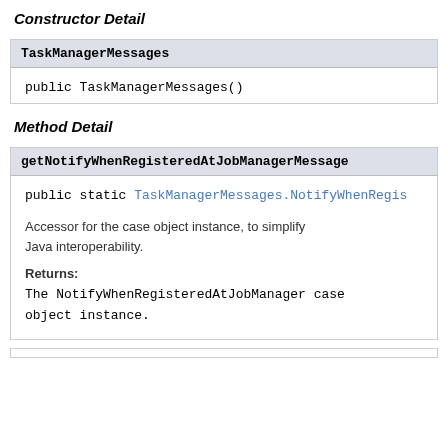Constructor Detail
TaskManagerMessages
public TaskManagerMessages()
Method Detail
getNotifyWhenRegisteredAtJobManagerMessage
public static TaskManagerMessages.NotifyWhenRegis
Accessor for the case object instance, to simplify Java interoperability.
Returns:
The NotifyWhenRegisteredAtJobManager case object instance.